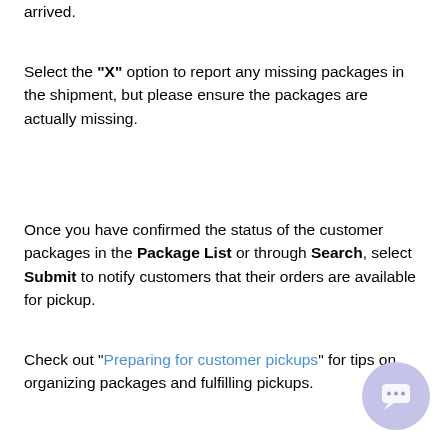arrived.
Select the "X" option to report any missing packages in the shipment, but please ensure the packages are actually missing.
Once you have confirmed the status of the customer packages in the Package List or through Search, select Submit to notify customers that their orders are available for pickup.
Check out "Preparing for customer pickups" for tips on organizing packages and fulfilling pickups.
[Figure (other): Chat bubble button icon in light purple/lavender circle at bottom right corner]